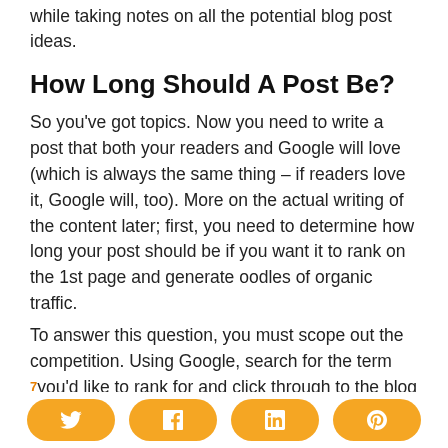while taking notes on all the potential blog post ideas.
How Long Should A Post Be?
So you've got topics. Now you need to write a post that both your readers and Google will love (which is always the same thing – if readers love it, Google will, too). More on the actual writing of the content later; first, you need to determine how long your post should be if you want it to rank on the 1st page and generate oodles of organic traffic.
To answer this question, you must scope out the competition. Using Google, search for the term you'd like to rank for and click through to the blog
[Figure (infographic): Social sharing buttons bar at bottom: Twitter, Facebook, LinkedIn, Pinterest — all with orange rounded pill background]